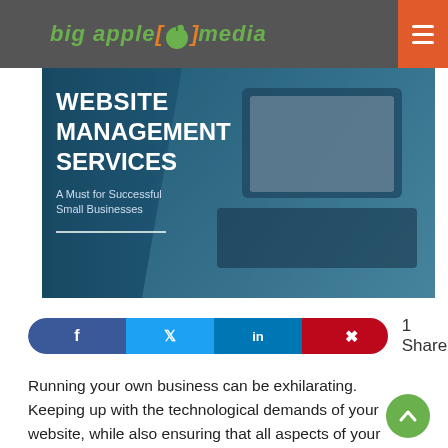big apple media
[Figure (photo): Hero banner image with blue-teal gradient background showing a person using a laptop, with white bold text reading 'WEBSITE MANAGEMENT SERVICES' and subtitle 'A Must for Successful Small Businesses']
WEBSITE MANAGEMENT SERVICES
A Must for Successful Small Businesses
1 Share
Running your own business can be exhilarating. Keeping up with the technological demands of your website, while also ensuring that all aspects of your company are operating